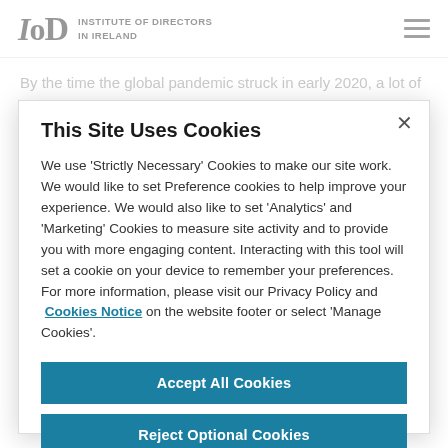INSTITUTE OF DIRECTORS IN IRELAND
By the time the global pandemic struck in early 2020, a lot of
This Site Uses Cookies
We use 'Strictly Necessary' Cookies to make our site work. We would like to set Preference cookies to help improve your experience. We would also like to set 'Analytics' and 'Marketing' Cookies to measure site activity and to provide you with more engaging content. Interacting with this tool will set a cookie on your device to remember your preferences. For more information, please visit our Privacy Policy and Cookies Notice on the website footer or select 'Manage Cookies'.
Accept All Cookies
Reject Optional Cookies
Manage Cookies